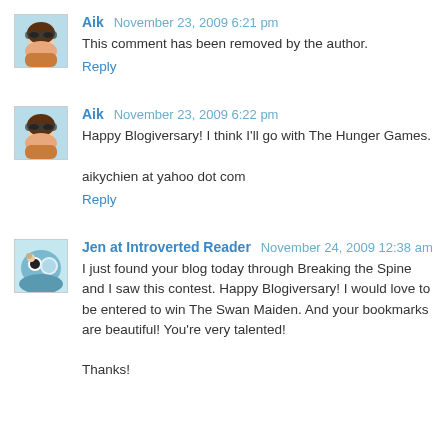[Figure (illustration): Avatar image of Aik - cartoon woman with sunglasses and dark hair]
Aik November 23, 2009 6:21 pm
This comment has been removed by the author.
Reply
[Figure (illustration): Avatar image of Aik - cartoon woman with sunglasses and dark hair]
Aik November 23, 2009 6:22 pm
Happy Blogiversary! I think I'll go with The Hunger Games.

aikychien at yahoo dot com
Reply
[Figure (photo): Avatar image of Jen at Introverted Reader - person with pet]
Jen at Introverted Reader November 24, 2009 12:38 am
I just found your blog today through Breaking the Spine and I saw this contest. Happy Blogiversary! I would love to be entered to win The Swan Maiden. And your bookmarks are beautiful! You're very talented!

Thanks!